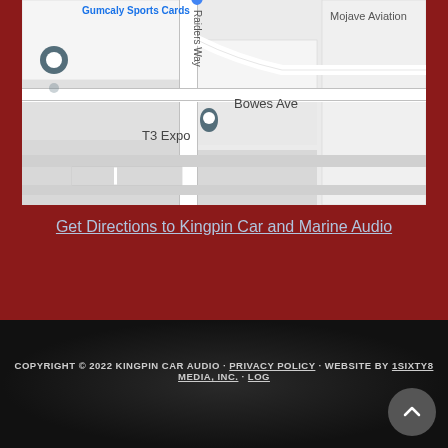[Figure (map): Google Maps screenshot showing intersection near T3 Expo and Bowes Ave, with Raiders Way running vertically. Location pin dropped at T3 Expo. Mojave Aviation label visible in upper right. Another location pin visible on left side.]
Get Directions to Kingpin Car and Marine Audio
COPYRIGHT © 2022 KINGPIN CAR AUDIO · PRIVACY POLICY · WEBSITE BY 1SIXTY8 MEDIA, INC. · LOG